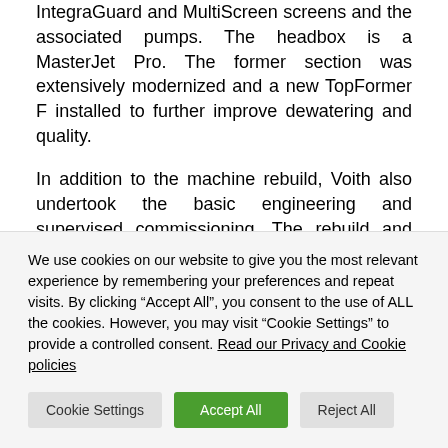IntegraGuard and MultiScreen screens and the associated pumps. The headbox is a MasterJet Pro. The former section was extensively modernized and a new TopFormer F installed to further improve dewatering and quality.
In addition to the machine rebuild, Voith also undertook the basic engineering and supervised commissioning. The rebuild and assembly took just ten weeks and the warranted parameters for the machine were successfully achieved within three months after startup.
Not only did the rebuild of the wet section of the BM 1
We use cookies on our website to give you the most relevant experience by remembering your preferences and repeat visits. By clicking “Accept All”, you consent to the use of ALL the cookies. However, you may visit “Cookie Settings” to provide a controlled consent. Read our Privacy and Cookie policies